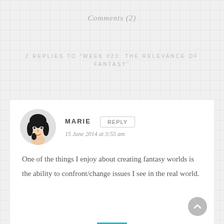Comments (2)
2 REPLIES TO “WEEK #23: THE RELEVANCE OF FANTASY”
[Figure (illustration): Circular avatar illustration of a woman with dark hair and pale skin, cartoon style]
MARIE
REPLY
15 June 2014 at 3:55 am
One of the things I enjoy about creating fantasy worlds is the ability to confront/change issues I see in the real world.